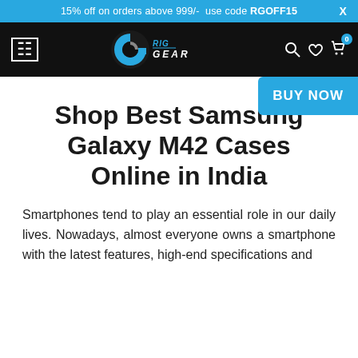15% off on orders above 999/- use code RGOFF15  X
[Figure (logo): RigGear logo with stylized 'G' icon in blue and white, and 'RIGGEAR' text in italic font. Navigation icons for search, wishlist, and cart (with badge showing 0) on the right. Hamburger menu icon on the left.]
[Figure (other): Blue 'BUY NOW' button partially visible on the right side of the page]
Shop Best Samsung Galaxy M42 Cases Online in India
Smartphones tend to play an essential role in our daily lives. Nowadays, almost everyone owns a smartphone with the latest features, high-end specifications and